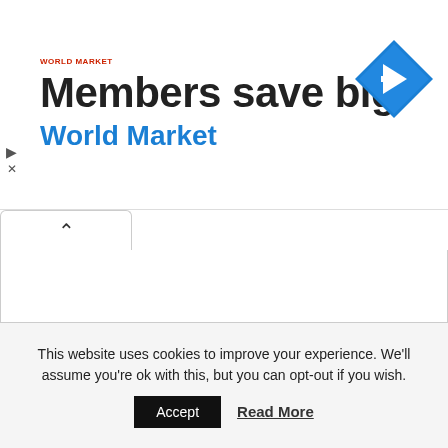[Figure (infographic): Advertisement banner for World Market. Shows logo text 'World Market' in red small text, large bold text 'Members save big', blue bold text 'World Market', and a blue diamond-shaped navigation icon on the right.]
This website uses cookies to improve your experience. We'll assume you're ok with this, but you can opt-out if you wish.
Accept
Read More